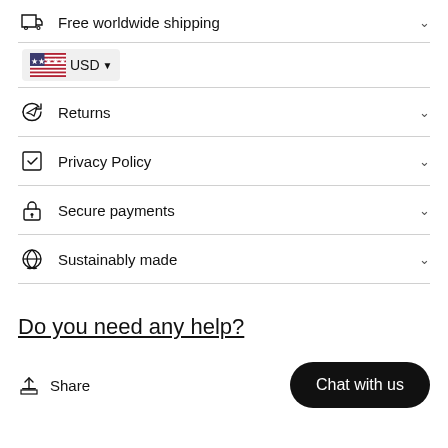Free worldwide shipping
USD
Returns
Privacy Policy
Secure payments
Sustainably made
Do you need any help?
Share
Chat with us